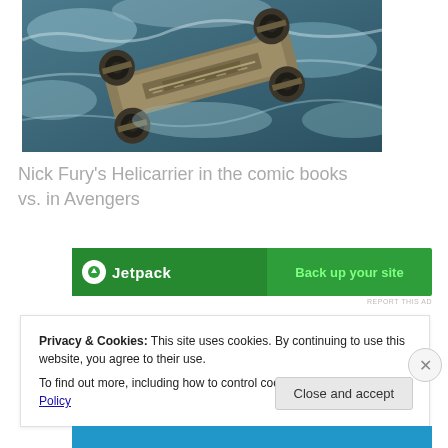[Figure (photo): Aerial/top-down view of Nick Fury's Helicarrier flying over ocean with turbulent waves and clouds]
Nick Fury's Helicarrier in the comic books vs. in Avengers
[Figure (screenshot): Jetpack advertisement banner with green background. Left side shows Jetpack logo and name, right side shows 'Back up your site' text. 'REPORT THIS AD' text below.]
Privacy & Cookies: This site uses cookies. By continuing to use this website, you agree to their use.
To find out more, including how to control cookies, see here: Cookie Policy
[Figure (screenshot): Close and accept button and blue bottom advertisement strip]